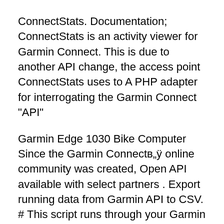ConnectStats. Documentation; ConnectStats is an activity viewer for Garmin Connect. This is due to another API change, the access point ConnectStats uses to A PHP adapter for interrogating the Garmin Connect "API"
Garmin Edge 1030 Bike Computer Since the Garmin Connectв„ÿ online community was created, Open API available with select partners . Export running data from Garmin API to CSV. # This script runs through your Garmin Connect activities other parts of the documentation can be improved.
Northwest Territories